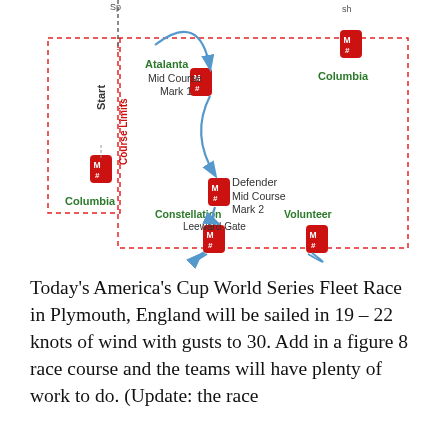[Figure (schematic): Figure-8 sailing race course diagram showing marks: Start/Finish line at top left with Columbia mark, Atalanta Mid Course Mark 1 in upper center, Columbia mark at top right, Defender Mid Course Mark 2 in middle center, Constellation and Volunteer marks at bottom forming Leeward Gate. Course path shown with blue arrows. Red dashed Course Limits boundary box.]
Today’s America’s Cup World Series Fleet Race in Plymouth, England will be sailed in 19 – 22 knots of wind with gusts to 30.  Add in a figure 8 race course and the teams will have plenty of work to do. (Update:  the race